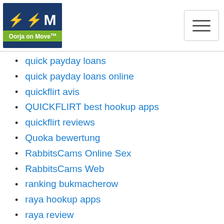Oorja on Move
quick payday loans
quick payday loans online
quickflirt avis
QUICKFLIRT best hookup apps
quickflirt reviews
Quoka bewertung
RabbitsCams Online Sex
RabbitsCams Web
ranking bukmacherow
raya hookup apps
raya review
real hookup sites
Real Mail Order Bride
Real Mail Order Brides
real payday loans no credit checks
recon come funciona